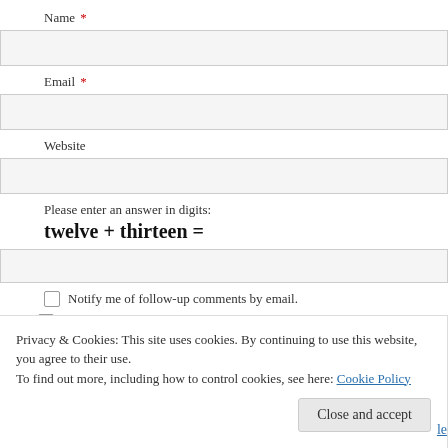Name *
Email *
Website
Please enter an answer in digits:
Notify me of follow-up comments by email.
Notify me of new posts by email.
Privacy & Cookies: This site uses cookies. By continuing to use this website, you agree to their use.
To find out more, including how to control cookies, see here: Cookie Policy
Close and accept